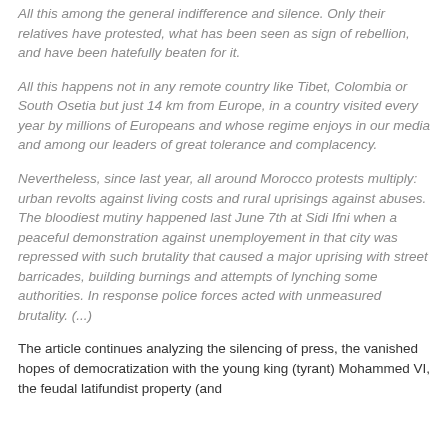All this among the general indifference and silence. Only their relatives have protested, what has been seen as sign of rebellion, and have been hatefully beaten for it.
All this happens not in any remote country like Tibet, Colombia or South Osetia but just 14 km from Europe, in a country visited every year by millions of Europeans and whose regime enjoys in our media and among our leaders of great tolerance and complacency.
Nevertheless, since last year, all around Morocco protests multiply: urban revolts against living costs and rural uprisings against abuses. The bloodiest mutiny happened last June 7th at Sidi Ifni when a peaceful demonstration against unemployement in that city was repressed with such brutality that caused a major uprising with street barricades, building burnings and attempts of lynching some authorities. In response police forces acted with unmeasured brutality. (...)
The article continues analyzing the silencing of press, the vanished hopes of democratization with the young king (tyrant) Mohammed VI, the feudal latifundist property (and